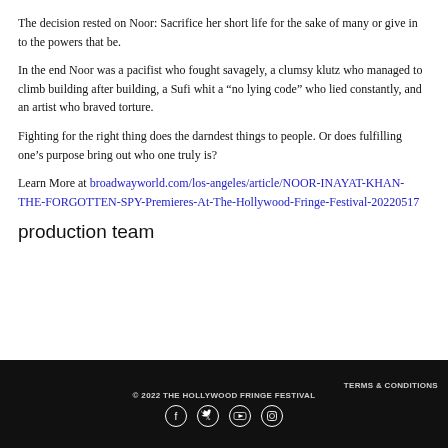The decision rested on Noor: Sacrifice her short life for the sake of many or give in to the powers that be.
In the end Noor was a pacifist who fought savagely, a clumsy klutz who managed to climb building after building, a Sufi whit a “no lying code” who lied constantly, and an artist who braved torture.
Fighting for the right thing does the darndest things to people. Or does fulfilling one’s purpose bring out who one truly is?
Learn More at broadwayworld.com/los-angeles/article/NOOR-INAYAT-KHAN-THE-FORGOTTEN-SPY-Premieres-At-The-Hollywood-Fringe-Festival-20220517
production team
TERMS & CONDITIONS © 2022 THE HOLLYWOOD FRINGE FESTIVAL